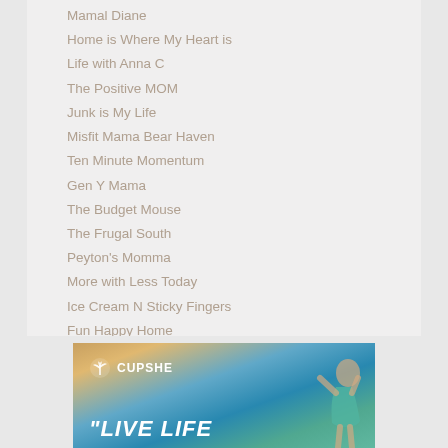Mamal Diane
Home is Where My Heart is
Life with Anna C
The Positive MOM
Junk is My Life
Misfit Mama Bear Haven
Ten Minute Momentum
Gen Y Mama
The Budget Mouse
The Frugal South
Peyton's Momma
More with Less Today
Ice Cream N Sticky Fingers
Fun Happy Home
[Figure (advertisement): Cupshe swimwear advertisement banner with palm tree logo, tagline 'LIVE LIFE', beach/ocean background, and woman in swimsuit on the right side.]